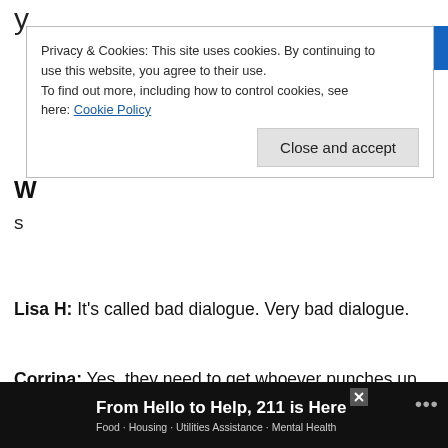y
W
s
[Figure (screenshot): Cookie consent banner overlay with text 'Privacy & Cookies: This site uses cookies. By continuing to use this website, you agree to their use. To find out more, including how to control cookies, see here: Cookie Policy' and a 'Close and accept' button]
Lisa H: It's called bad dialogue. Very bad dialogue.
Corrina: Yes, they need to get whoever punches up Mick's dialogue on Legends of Tomorrow to do some dialogue here.
Will: I'm pretty sure Cyborg Superman didn't name himself that in the comics AND that only happened after he masqueraded as Su[perman] for awhile. There's no reason for Hank to be calling himself Superman at this point. But I guess he couldn't just call himself Cyborg either since that's another character. Why not just jump to
[Figure (screenshot): Advertisement banner at bottom: 'From Hello to Help, 211 is Here' with subtitle 'Food · Housing · Utilities Assistance · Mental Health' on dark background]